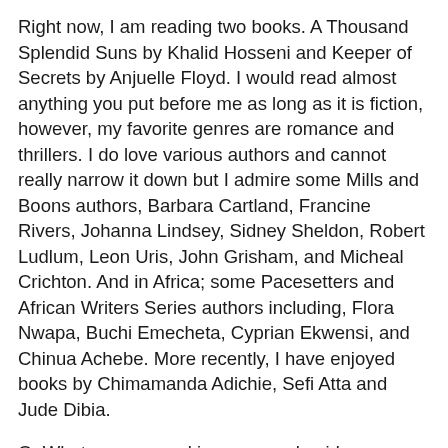Right now, I am reading two books. A Thousand Splendid Suns by Khalid Hosseni and Keeper of Secrets by Anjuelle Floyd. I would read almost anything you put before me as long as it is fiction, however, my favorite genres are romance and thrillers. I do love various authors and cannot really narrow it down but I admire some Mills and Boons authors, Barbara Cartland, Francine Rivers, Johanna Lindsey, Sidney Sheldon, Robert Ludlum, Leon Uris, John Grisham, and Micheal Crichton. And in Africa; some Pacesetters and African Writers Series authors including, Flora Nwapa, Buchi Emecheta, Cyprian Ekwensi, and Chinua Achebe. More recently, I have enjoyed books by Chimamanda Adichie, Sefi Atta and Jude Dibia.
Q: What are you working on now, besides promoting A Heart to Mend?
I am working on another romance novel now in it's second manuscript draft. The working title is Ghost of the Past and it is also set in Nigeria. It spans about ten years and references some important historical events so I have had to do some goodly amount of research.